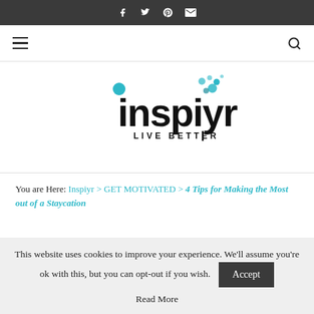Social icons bar: facebook, twitter, pinterest, email
[Figure (logo): Inspiyr logo with teal bubble dots and text 'LIVE BETTER']
You are Here: Inspiyr > GET MOTIVATED > 4 Tips for Making the Most out of a Staycation
This website uses cookies to improve your experience. We'll assume you're ok with this, but you can opt-out if you wish. Accept
Read More